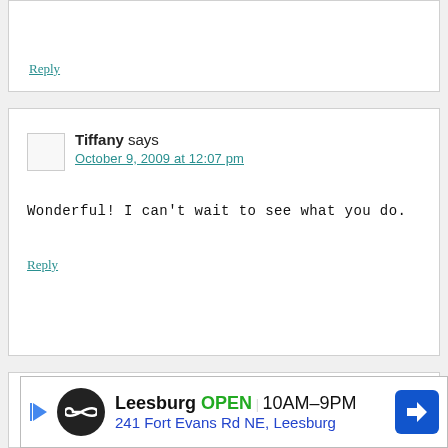Reply
Tiffany says
October 9, 2009 at 12:07 pm
Wonderful! I can’t wait to see what you do.
Reply
Tiffany says
October 9, 2009 at 12:09 pm
[Figure (other): Advertisement banner: Leesburg OPEN 10AM-9PM, 241 Fort Evans Rd NE, Leesburg with map arrow icon]